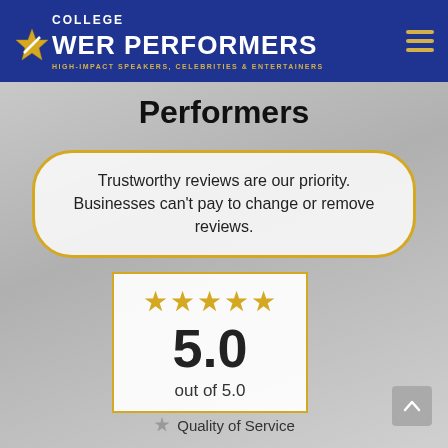[Figure (logo): College Power Performers logo — blue bar with gold star, white text 'COLLEGE POWER PERFORMERS', gold tagline 'HIGH-IMPACT SPEAKERS, CELEBRITIES & ENTERTAINERS', gold hamburger menu icon on right]
Performers
Trustworthy reviews are our priority. Businesses can't pay to change or remove reviews.
[Figure (infographic): Rating box with 5 gold stars, large '5.0' number, and 'out of 5.0' label, bordered in gold]
Quality of Service